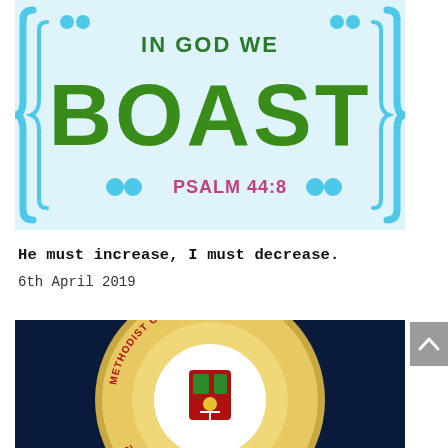[Figure (photo): Decorative graphic with text 'IN GOD WE BOAST' in large green letters on a light blue background with bracket/brace decorative borders and 'PSALM 44:8' in pink text at the bottom]
He must increase, I must decrease.
6th April 2019
[Figure (photo): Circular badge/seal for Methodist Church Nigeria reading '2022 OUR YEAR OF JUBILATION' with a church emblem/coat of arms in the center, gold and red coloring on dark blue background]